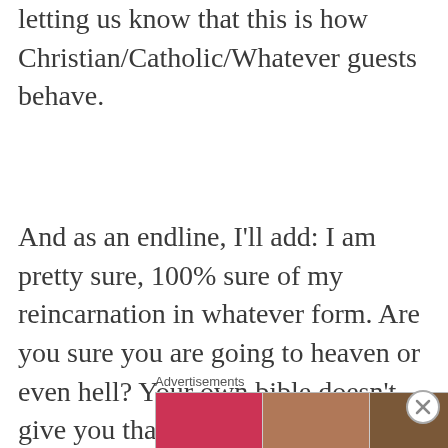letting us know that this is how Christian/Catholic/Whatever guests behave.
And as an endline, I'll add: I am pretty sure, 100% sure of my reincarnation in whatever form. Are you sure you are going to heaven or even hell? Your own bible doesn't give you that guarantee. So stop practicing a false religion and turn to Hinudtva. Lacs of people from
Advertisements
[Figure (photo): Ulta Beauty advertisement banner showing close-up images of lips with lipstick, makeup brush, eye with mascara, Ulta Beauty logo, another eye with makeup, and a 'SHOP NOW' button]